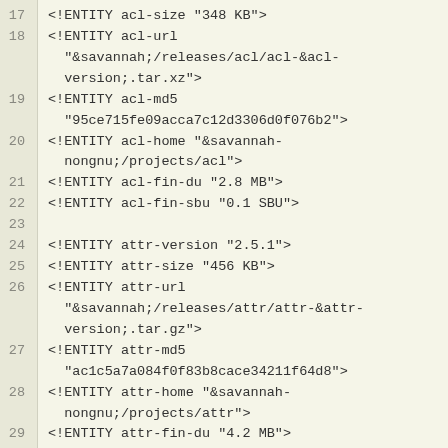17 <!ENTITY acl-size "348 KB">
18 <!ENTITY acl-url
"&savannah;/releases/acl/acl-&acl-version;.tar.xz">
19 <!ENTITY acl-md5
"95ce715fe09acca7c12d3306d0f076b2">
20 <!ENTITY acl-home "&savannah-nongnu;/projects/acl">
21 <!ENTITY acl-fin-du "2.8 MB">
22 <!ENTITY acl-fin-sbu "0.1 SBU">
23
24 <!ENTITY attr-version "2.5.1">
25 <!ENTITY attr-size "456 KB">
26 <!ENTITY attr-url
"&savannah;/releases/attr/attr-&attr-version;.tar.gz">
27 <!ENTITY attr-md5
"ac1c5a7a084f0f83b8cace34211f64d8">
28 <!ENTITY attr-home "&savannah-nongnu;/projects/attr">
29 <!ENTITY attr-fin-du "4.2 MB">
30 <!ENTITY attr-fin-sbu "less than 0.1 SBU">
31
32 <!ENTITY autoconf-version "2.71">